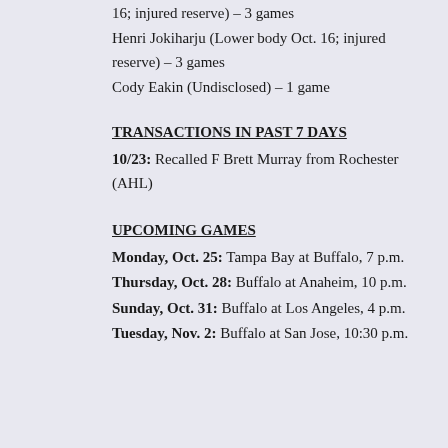16; injured reserve) – 3 games
Henri Jokiharju (Lower body Oct. 16; injured reserve) – 3 games
Cody Eakin (Undisclosed) – 1 game
TRANSACTIONS IN PAST 7 DAYS
10/23: Recalled F Brett Murray from Rochester (AHL)
UPCOMING GAMES
Monday, Oct. 25: Tampa Bay at Buffalo, 7 p.m.
Thursday, Oct. 28: Buffalo at Anaheim, 10 p.m.
Sunday, Oct. 31: Buffalo at Los Angeles, 4 p.m.
Tuesday, Nov. 2: Buffalo at San Jose, 10:30 p.m.